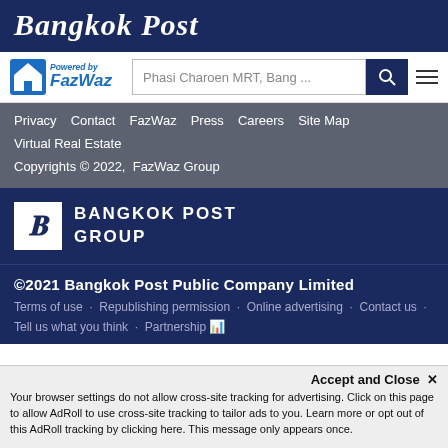Bangkok Post
[Figure (logo): FazWaz real estate search logo with house icon, Powered by text, and search bar showing 'Phasi Charoen MRT, Bang...' with search and hamburger menu buttons]
Privacy  Contact  FazWaz  Press  Careers  Site Map
Virtual Real Estate
Copyrights © 2022,   FazWaz Group
[Figure (logo): Bangkok Post Group logo - white B letter in box with BANGKOK POST GROUP text]
©2021 Bangkok Post Public Company Limited
Terms of use   Republishing permission   Online advertising   Contact us   Tell us what you think   Partnership
Accept and Close ✕
Your browser settings do not allow cross-site tracking for advertising. Click on this page to allow AdRoll to use cross-site tracking to tailor ads to you. Learn more or opt out of this AdRoll tracking by clicking here. This message only appears once.